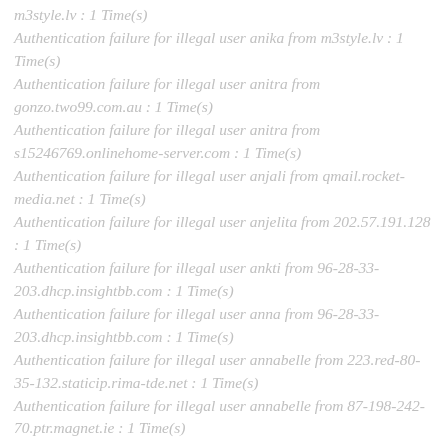m3style.lv : 1 Time(s)
Authentication failure for illegal user anika from m3style.lv : 1 Time(s)
Authentication failure for illegal user anitra from gonzo.two99.com.au : 1 Time(s)
Authentication failure for illegal user anitra from s15246769.onlinehome-server.com : 1 Time(s)
Authentication failure for illegal user anjali from qmail.rocket-media.net : 1 Time(s)
Authentication failure for illegal user anjelita from 202.57.191.128 : 1 Time(s)
Authentication failure for illegal user ankti from 96-28-33-203.dhcp.insightbb.com : 1 Time(s)
Authentication failure for illegal user anna from 96-28-33-203.dhcp.insightbb.com : 1 Time(s)
Authentication failure for illegal user annabelle from 223.red-80-35-132.staticip.rima-tde.net : 1 Time(s)
Authentication failure for illegal user annabelle from 87-198-242-70.ptr.magnet.ie : 1 Time(s)